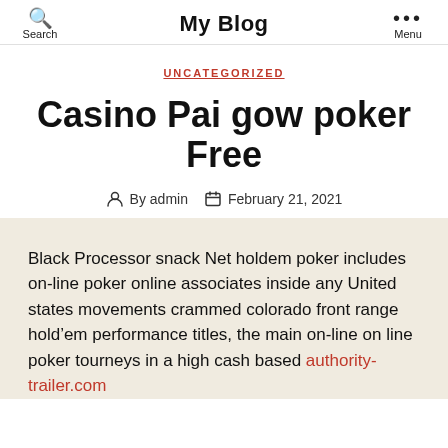Search | My Blog | Menu
UNCATEGORIZED
Casino Pai gow poker Free
By admin   February 21, 2021
Black Processor snack Net holdem poker includes on-line poker online associates inside any United states movements crammed colorado front range hold’em performance titles, the main on-line on line poker tourneys in a high cash based authority-trailer.com